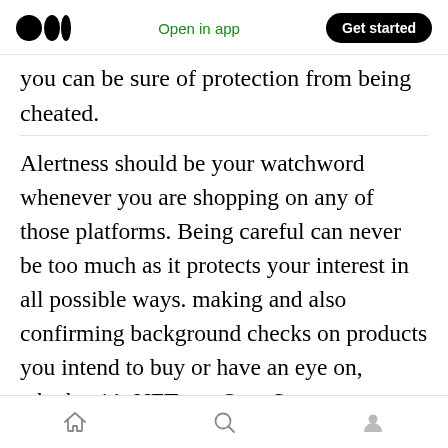Medium logo | Open in app | Get started
you can be sure of protection from being cheated.
Alertness should be your watchword whenever you are shopping on any of those platforms. Being careful can never be too much as it protects your interest in all possible ways. making and also confirming background checks on products you intend to buy or have an eye on, whether it's NFTs on OpenSea or some other products on other platforms. Make sure to make careful and detailed inquiries about your intended purchase so you can have the best delivered to you as nothing beats the satisfaction
Home | Search | Profile